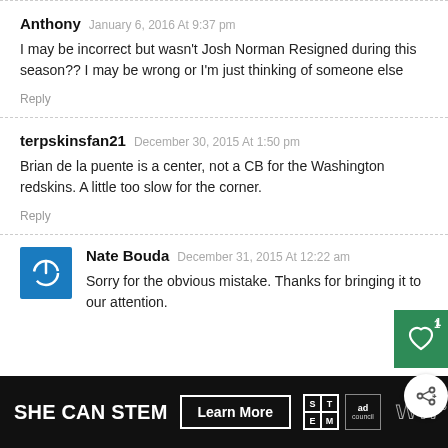Anthony January 6, 2016 At 9:37 pm
I may be incorrect but wasn't Josh Norman Resigned during this season?? I may be wrong or I'm just thinking of someone else
Reply
terpskinsfan21 December 30, 2015 At 1:50 pm
Brian de la puente is a center, not a CB for the Washington redskins. A little too slow for the corner.
Reply
Nate Bouda December 31, 2015 At 12:22 am
Sorry for the obvious mistake. Thanks for bringing it to our attention.
[Figure (screenshot): SHE CAN STEM ad banner with Learn More button, STEM grid logo and ad council logo]
[Figure (other): Green heart/like floating action button and white share floating action button on right side]